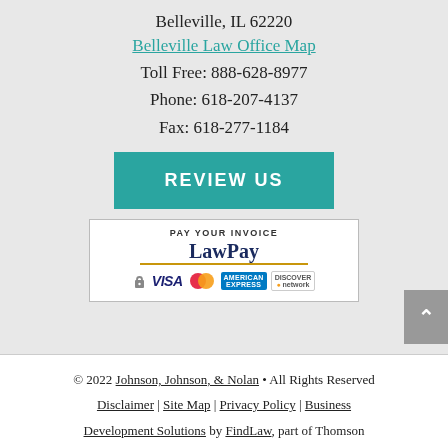Belleville, IL 62220
Belleville Law Office Map
Toll Free: 888-628-8977
Phone: 618-207-4137
Fax: 618-277-1184
[Figure (other): REVIEW US button (teal/green colored button with white uppercase text)]
[Figure (other): LawPay payment box showing PAY YOUR INVOICE, LawPay logo, and credit card logos: lock, VISA, MasterCard, American Express, Discover]
© 2022 Johnson, Johnson, & Nolan • All Rights Reserved Disclaimer | Site Map | Privacy Policy | Business Development Solutions by FindLaw, part of Thomson